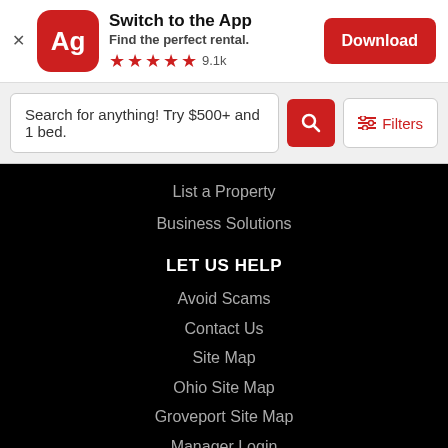[Figure (screenshot): App banner with Apartments.com Ag logo, Switch to the App text, Find the perfect rental subtitle, 5 red stars rating with 9.1k reviews, and red Download button]
Search for anything! Try $500+ and 1 bed.
List a Property
Business Solutions
LET US HELP
Avoid Scams
Contact Us
Site Map
Ohio Site Map
Groveport Site Map
Manager Login
Accessibility
COVID-19
COVID-related Evictions